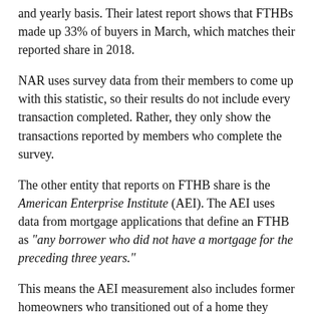and yearly basis. Their latest report shows that FTHBs made up 33% of buyers in March, which matches their reported share in 2018.
NAR uses survey data from their members to come up with this statistic, so their results do not include every transaction completed. Rather, they only show the transactions reported by members who complete the survey.
The other entity that reports on FTHB share is the American Enterprise Institute (AEI). The AEI uses data from mortgage applications that define an FTHB as "any borrower who did not have a mortgage for the preceding three years."
This means the AEI measurement also includes former homeowners who transitioned out of a home they previously owned and re-entered the market after at least 3 years. The latest FTHB share data from AEI shows that first-time buyers made up 57.5% of all mortgages in August 2018. NAR's data shows a 31% share for the same time period.